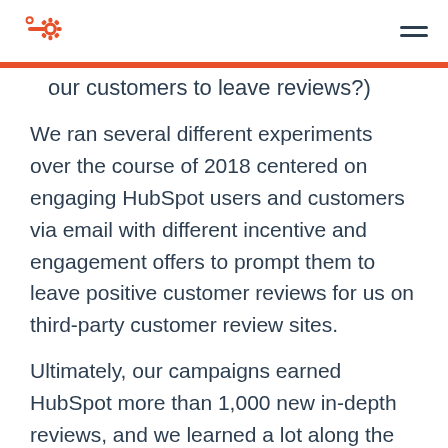HubSpot logo and navigation
our customers to leave reviews?)
We ran several different experiments over the course of 2018 centered on engaging HubSpot users and customers via email with different incentive and engagement offers to prompt them to leave positive customer reviews for us on third-party customer review sites.
Ultimately, our campaigns earned HubSpot more than 1,000 new in-depth reviews, and we learned a lot along the way that we wanted to share for your own customer review campaigns. Read on for our key findings and recommended best practices for asking your customers and users for a review.